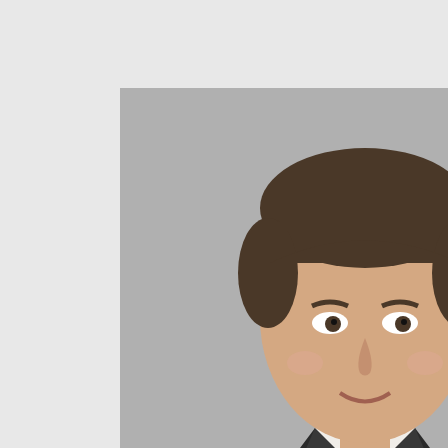[Figure (photo): Professional headshot of a man in a dark suit with a pink/red tie, short brown hair, gray background]
Besides, he has been a member of the Czech floorball team for years, winning silver and bronze medals at the World Championship. In the Czech floorball premier league he played for Tatran Střešovice and played in the highest Swedish league. In 2006 he was voted to be the best floorball player in the world.

Tomáš started to gain business experience when studying at IES. He worked a